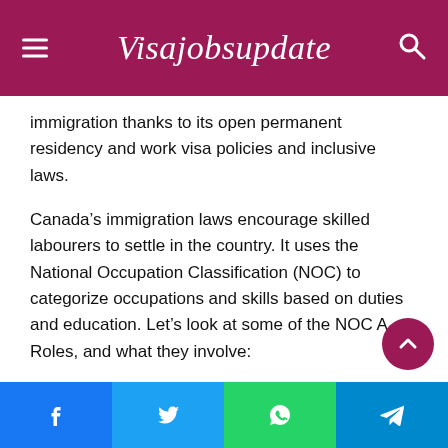Visajobsupdate
immigration thanks to its open permanent residency and work visa policies and inclusive laws.
Canada’s immigration laws encourage skilled labourers to settle in the country. It uses the National Occupation Classification (NOC) to categorize occupations and skills based on duties and education. Let’s look at some of the NOC A Roles, and what they involve:
NOC Level A jobs require you to have a university degree. So, if you know you’ve spent years studying toward your career goals, this is the right path to Canada for you.
Facebook | Twitter | WhatsApp | Telegram